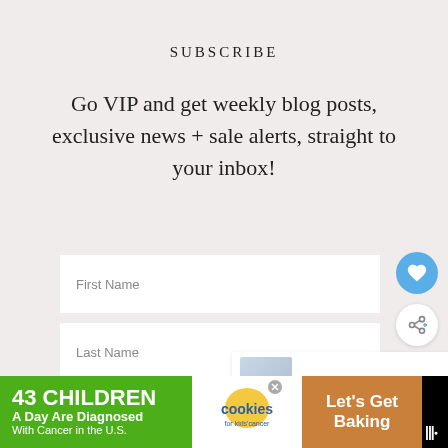SUBSCRIBE
Go VIP and get weekly blog posts, exclusive news + sale alerts, straight to your inbox!
First Name
Last Name
E-Mail Address
[Figure (screenshot): Blue circular heart/favorite button]
[Figure (screenshot): White circular share button]
[Figure (screenshot): What's Next panel with thumbnail and text: 15 Best Designer...]
[Figure (screenshot): Advertisement banner: 43 CHILDREN A Day Are Diagnosed With Cancer in the U.S. / cookies for kids cancer / Let's Get Baking]